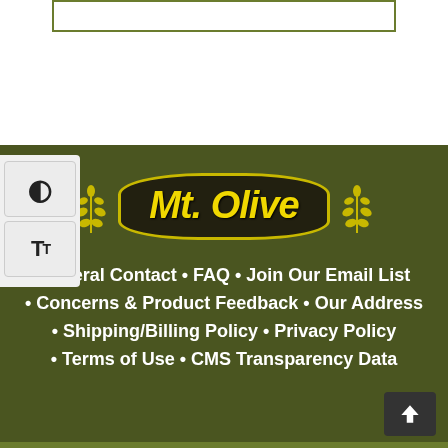[Figure (other): Green bordered empty box at top of page]
[Figure (logo): Mt. Olive brand logo with wheat stalks on olive green background]
General Contact • FAQ • Join Our Email List
• Concerns & Product Feedback • Our Address
• Shipping/Billing Policy • Privacy Policy
• Terms of Use • CMS Transparency Data